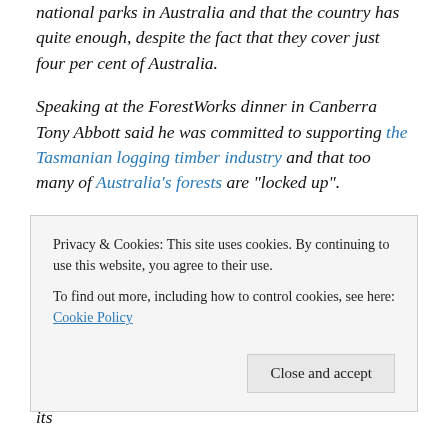national parks in Australia and that the country has quite enough, despite the fact that they cover just four per cent of Australia.
Speaking at the ForestWorks dinner in Canberra Tony Abbott said he was committed to supporting the Tasmanian logging timber industry and that too many of Australia's forests are "locked up".
“We have quite enough national parks. We have quite enough locked up forests already. Why should we lock up as some sort of World Heritage sanctuary, country that has
Privacy & Cookies: This site uses cookies. By continuing to use this website, you agree to their use.
To find out more, including how to control cookies, see here: Cookie Policy
has ever sought to delist a World Heritage area when its